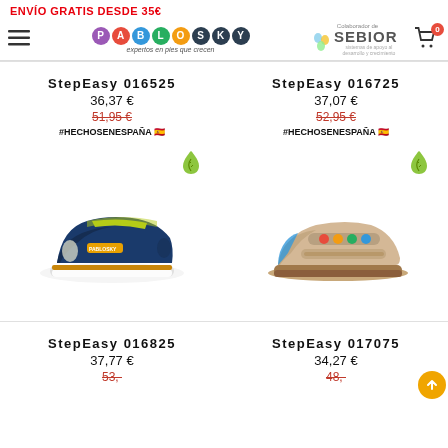ENVÍO GRATIS DESDE 35€
[Figure (logo): Pablosky logo with colorful circular letters and tagline 'expertos en pies que crecen']
[Figure (logo): SEBIOR logo with paint drop icon and text 'Colaborador de']
StepEasy 016525
36,37 €
51,95 €
#HECHOSENESPAÑA 🇪🇸
StepEasy 016725
37,07 €
52,95 €
#HECHOSENESPAÑA 🇪🇸
[Figure (photo): Navy blue Pablosky StepEasy sandal/shoe with yellow-green accents]
[Figure (photo): Beige Pablosky StepEasy sandal with colorful strap buttons]
StepEasy 016825
37,77 €
StepEasy 017075
34,27 €